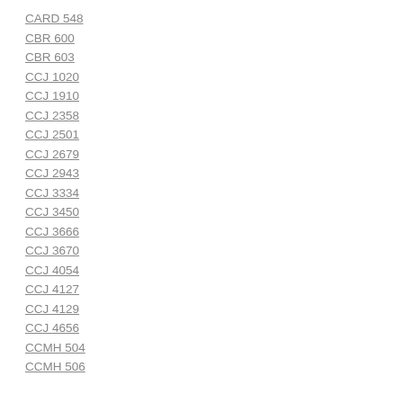CARD 548
CBR 600
CBR 603
CCJ 1020
CCJ 1910
CCJ 2358
CCJ 2501
CCJ 2679
CCJ 2943
CCJ 3334
CCJ 3450
CCJ 3666
CCJ 3670
CCJ 4054
CCJ 4127
CCJ 4129
CCJ 4656
CCMH 504
CCMH 506